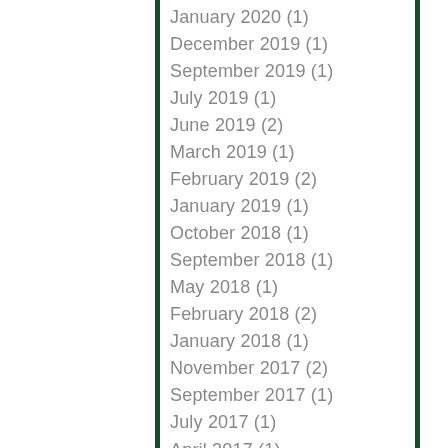January 2020 (1)
December 2019 (1)
September 2019 (1)
July 2019 (1)
June 2019 (2)
March 2019 (1)
February 2019 (2)
January 2019 (1)
October 2018 (1)
September 2018 (1)
May 2018 (1)
February 2018 (2)
January 2018 (1)
November 2017 (2)
September 2017 (1)
July 2017 (1)
April 2017 (1)
March 2017 (1)
February 2017 (1)
January 2017 (1)